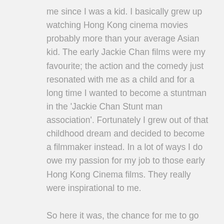me since I was a kid. I basically grew up watching Hong Kong cinema movies probably more than your average Asian kid. The early Jackie Chan films were my favourite; the action and the comedy just resonated with me as a child and for a long time I wanted to become a stuntman in the 'Jackie Chan Stunt man association'. Fortunately I grew out of that childhood dream and decided to become a filmmaker instead. In a lot of ways I do owe my passion for my job to those early Hong Kong Cinema films. They really were inspirational to me.
So here it was, the chance for me to go out to Shanghai for a shoot, Not exactly on a Jackie Chan movie set...but a shoot none the less.
The World Solar Congress was pretty much exactly what it says on the tin really. It was about